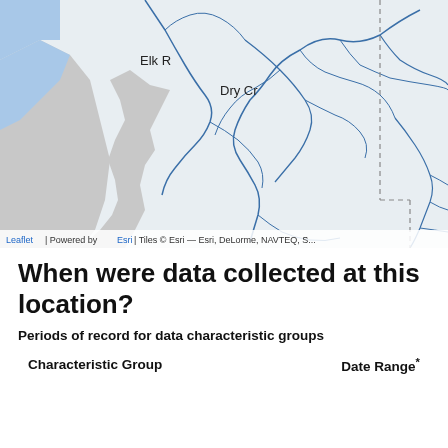[Figure (map): A Leaflet/Esri web map showing river watersheds along the Oregon coast, including labels for Sixes R, Elk R, and Dry Cr. The map shows blue river lines on a light gray/white background with a coastal area visible on the left. A dashed boundary line appears on the right side. Attribution reads: Leaflet | Powered by Esri | Tiles © Esri — Esri, DeLorme, NAVTEQ, S...]
When were data collected at this location?
Periods of record for data characteristic groups
| Characteristic Group | Date Range* |
| --- | --- |